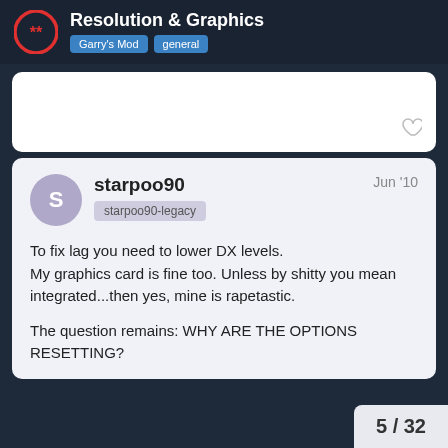Resolution & Graphics — Garry's Mod | general
starpoo90 — Jun '10 — starpoo90-legacy
To fix lag you need to lower DX levels.
My graphics card is fine too. Unless by shitty you mean integrated...then yes, mine is rapetastic.

The question remains: WHY ARE THE OPTIONS RESETTING?
5 / 32